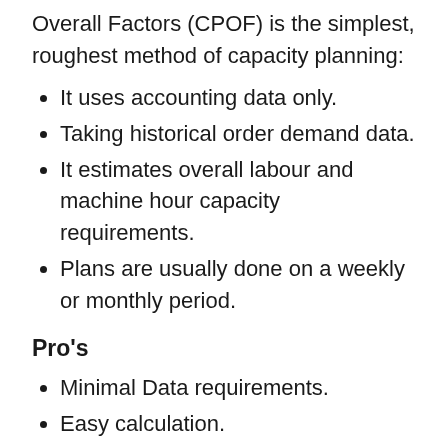Overall Factors (CPOF) is the simplest, roughest method of capacity planning:
It uses accounting data only.
Taking historical order demand data.
It estimates overall labour and machine hour capacity requirements.
Plans are usually done on a weekly or monthly period.
Pro's
Minimal Data requirements.
Easy calculation.
Cons